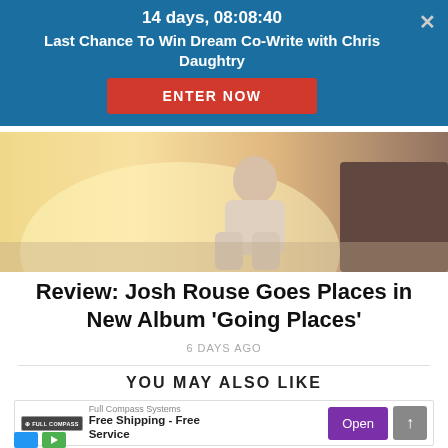14 days, 08:08:40
Last Chance To Win Dream Co-Write with Chris Daughtry
ENTER NOW
[Figure (photo): Person sitting outdoors in sunlit scene, viewed from behind, warm golden light]
Review: Josh Rouse Goes Places in New Album 'Going Places'
6 DAYS AGO
YOU MAY ALSO LIKE
[Figure (screenshot): Advertisement banner: Full Compass Systems - Free Shipping - Free Service, with Open button and scroll-up arrow]